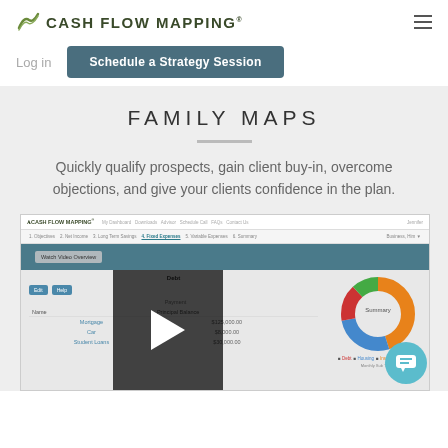CASH FLOW MAPPING
Log in
Schedule a Strategy Session
FAMILY MAPS
Quickly qualify prospects, gain client buy-in, overcome objections, and give your clients confidence in the plan.
[Figure (screenshot): Screenshot of the Cash Flow Mapping web application showing a Fixed Expenses section with a data table listing items like Mortgage, Car, Student Loans with principal balances and payments, alongside a donut/pie chart labeled Summary showing breakdown by category (Debt, Housing, Insurance, Other). A video play button overlay is visible over part of the content.]